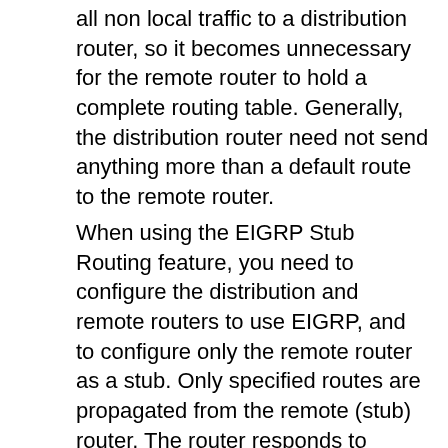all non local traffic to a distribution router, so it becomes unnecessary for the remote router to hold a complete routing table. Generally, the distribution router need not send anything more than a default route to the remote router. When using the EIGRP Stub Routing feature, you need to configure the distribution and remote routers to use EIGRP, and to configure only the remote router as a stub. Only specified routes are propagated from the remote (stub) router. The router responds to queries for summaries, connected routes, redistributed static routes, external routes, and internal routes with the message “inaccessible.” A router that is configured as a stub will send a special peer information packet to all neighboring routers to report its status as a stub router. Any neighbor that receives a packet informing it of the stub status will not query the stub router for any routes, and a router that has a stub peer will not query that peer. The stub